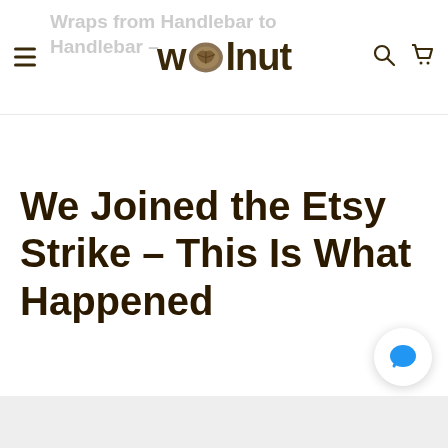Wraps from Handlebar to Handlebar — wolnut (logo)
We Joined the Etsy Strike – This Is What Happened